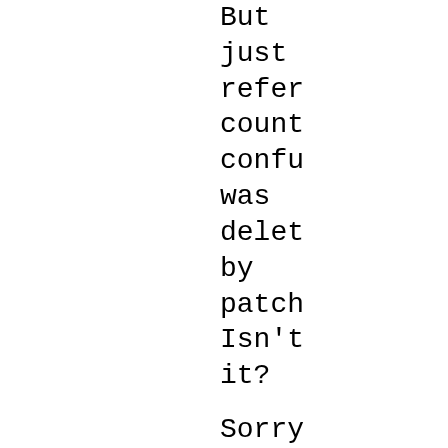But just refer count confu was delet by patch Isn't it?
Sorry I don't under what you'r tryin to ask here.
- z
^ perma raw reply [flat 21+